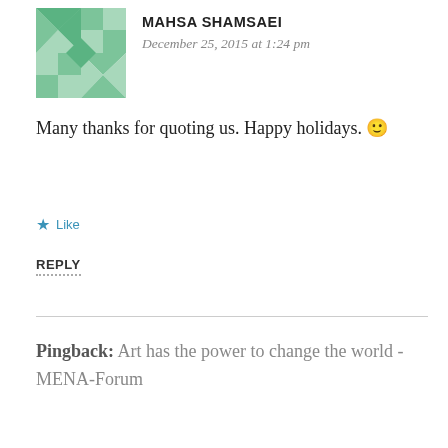[Figure (illustration): Avatar image: green and white geometric quilt-pattern square icon]
MAHSA SHAMSAEI
December 25, 2015 at 1:24 pm
Many thanks for quoting us. Happy holidays. 🙂
★ Like
REPLY
Pingback: Art has the power to change the world - MENA-Forum